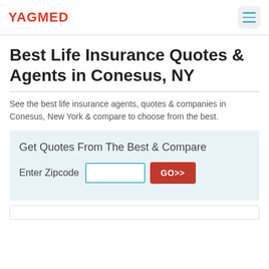YAGMED
Best Life Insurance Quotes & Agents in Conesus, NY
See the best life insurance agents, quotes & companies in Conesus, New York & compare to choose from the best.
Get Quotes From The Best & Compare
Enter Zipcode  GO>>